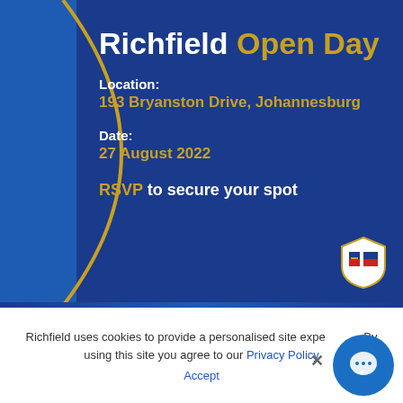[Figure (infographic): Richfield Open Day promotional banner with dark blue background, golden arc/curve on left side, white and gold text showing event details including location 193 Bryanston Drive Johannesburg, date 27 August 2022, and RSVP prompt. Richfield shield logo in bottom right corner.]
Richfield uses cookies to provide a personalised site experience. By using this site you agree to our Privacy Policy
Accept